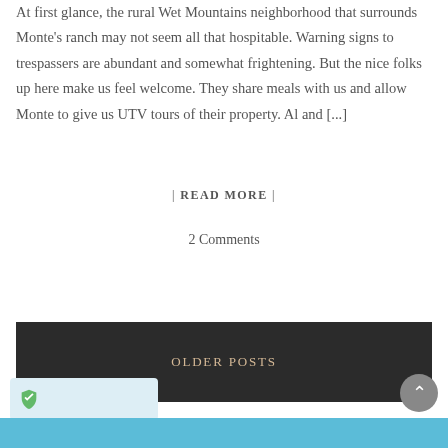At first glance, the rural Wet Mountains neighborhood that surrounds Monte's ranch may not seem all that hospitable. Warning signs to trespassers are abundant and somewhat frightening. But the nice folks up here make us feel welcome. They share meals with us and allow Monte to give us UTV tours of their property. Al and [...]
| READ MORE |
2 Comments
OLDER POSTS
[Figure (other): Security/privacy shield badge icon at bottom left, scroll-to-top button at bottom right, blue footer bar]